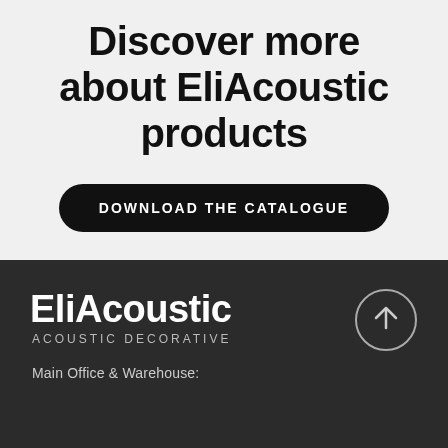Discover more about EliAcoustic products
DOWNLOAD THE CATALOGUE
[Figure (logo): EliAcoustic logo with text 'EliAcoustic' in bold white and subtitle 'ACOUSTIC DECORATIVE' below, on dark background]
[Figure (illustration): Circle with upward arrow icon, outline style, white on dark background]
Main Office & Warehouse: